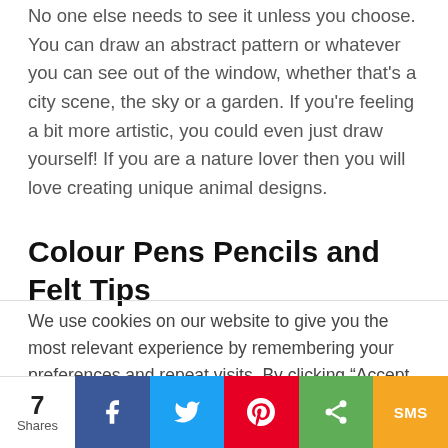No one else needs to see it unless you choose. You can draw an abstract pattern or whatever you can see out of the window, whether that's a city scene, the sky or a garden. If you're feeling a bit more artistic, you could even just draw yourself! If you are a nature lover then you will love creating unique animal designs.
Colour Pens Pencils and Felt Tips
We use cookies on our website to give you the most relevant experience by remembering your preferences and repeat visits. By clicking "Accept All", you consent to the use of ALL the cookies. However, you may visit "Cookie Settings" to provide a controlled consent.
[Figure (other): Social share bar at bottom showing 7 Shares, Facebook, Twitter, Pinterest, ShareThis, and SMS buttons]